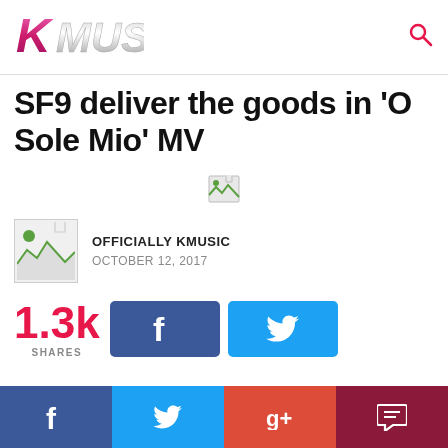[Figure (logo): KMUSIC logo in pink/magenta gradient with metallic letters]
SF9 deliver the goods in 'O Sole Mio' MV
[Figure (photo): Broken/loading image placeholder]
OFFICIALLY KMUSIC
OCTOBER 12, 2017
1.3k SHARES
[Figure (infographic): Facebook and Twitter share buttons]
[Figure (infographic): Bottom social bar with Facebook, Twitter, Google+, and comment icons]